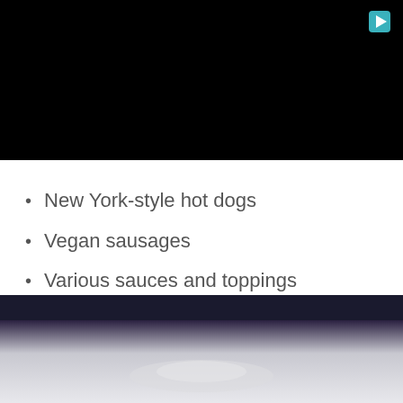[Figure (screenshot): Black video player area with a teal play button icon in the top right corner]
New York-style hot dogs
Vegan sausages
Various sauces and toppings
Cheesecake on a stick
[Figure (photo): Bottom portion of a photo showing food items, partially visible, dark and light tones]